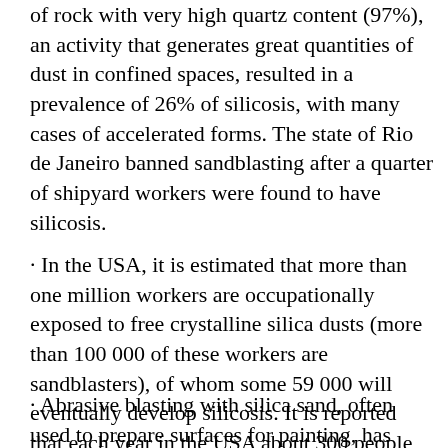of rock with very high quartz content (97%), an activity that generates great quantities of dust in confined spaces, resulted in a prevalence of 26% of silicosis, with many cases of accelerated forms. The state of Rio de Janeiro banned sandblasting after a quarter of shipyard workers were found to have silicosis.
· In the USA, it is estimated that more than one million workers are occupationally exposed to free crystalline silica dusts (more than 100 000 of these workers are sandblasters), of whom some 59 000 will eventually develop silicosis. It is reported that each year in the USA about 300 people die from it, but the true number is not known.
· Abrasive blasting with silica sand, often used to prepare surfaces for painting, has been associated with exposures 200 times greater than the